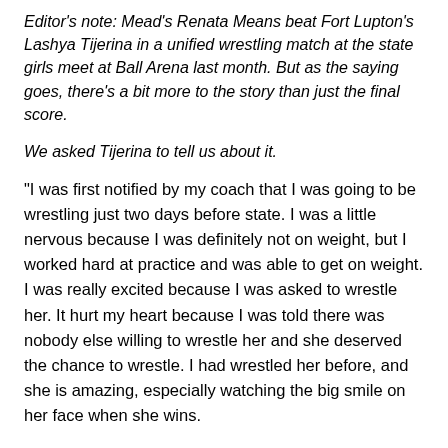Editor's note: Mead's Renata Means beat Fort Lupton's Lashya Tijerina in a unified wrestling match at the state girls meet at Ball Arena last month. But as the saying goes, there's a bit more to the story than just the final score.
We asked Tijerina to tell us about it.
"I was first notified by my coach that I was going to be wrestling just two days before state. I was a little nervous because I was definitely not on weight, but I worked hard at practice and was able to get on weight. I was really excited because I was asked to wrestle her. It hurt my heart because I was told there was nobody else willing to wrestle her and she deserved the chance to wrestle. I had wrestled her before, and she is amazing, especially watching the big smile on her face when she wins.
“My coaches and I had a plan going into this match. We were going to tie it up and take it into overtime because we wanted the crowd to go wild when she pinned me in overtime. I accidentally messed this up because I took her down when I wasn't supposed to, and I had more points than her. There were 30 seconds left in the third period, and my coaches were freaking out trying to do the math to get it tied up again